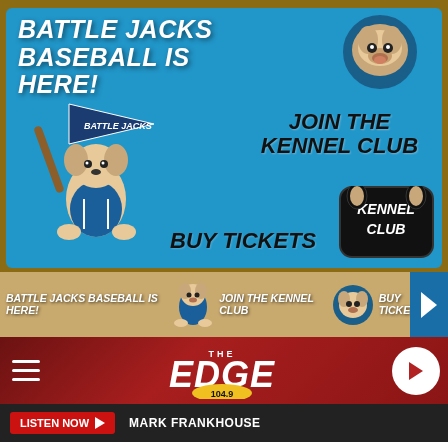[Figure (infographic): Battle Jacks Baseball promotional banner with blue background, dog mascot logo, Battle Jacks team mascot (dog with baseball bat and pennant), 'Battle Jacks Baseball Is Here!' title text, 'Join The Kennel Club' call to action, 'Buy Tickets' call to action, Kennel Club badge]
[Figure (infographic): Navigation/scrollable strip showing Battle Jacks Baseball Is Here!, Battle Jacks mascot small, Join The Kennel Club, dog logo, Buy Tickets, right arrow on tan/gold background]
[Figure (infographic): The Edge 104.9 radio station header bar with hamburger menu, radio logo, and play button on dark red background]
LISTEN NOW  MARK FRANKHOUSE
[Figure (infographic): Social sharing buttons: Facebook Share button (dark blue) and Tweet button (light blue) with bird icons]
[Figure (infographic): Petco advertisement showing In-store shopping and Curbside pickup options with navigation arrow icon]